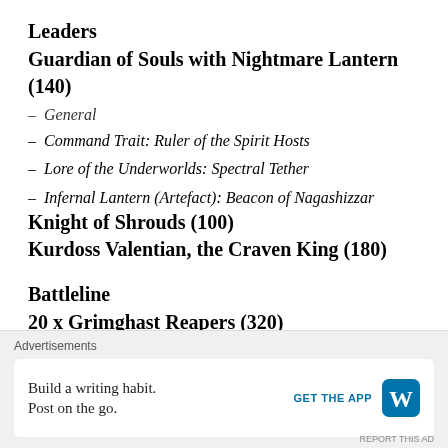Leaders
Guardian of Souls with Nightmare Lantern (140)
– General
– Command Trait: Ruler of the Spirit Hosts
– Lore of the Underworlds: Spectral Tether
– Infernal Lantern (Artefact): Beacon of Nagashizzar
Knight of Shrouds (100)
Kurdoss Valentian, the Craven King (180)
Battleline
20 x Grimghast Reapers (320)
3 x Spirit Hosts (120)
10 x Chainrasp Horde (80)
Endless Spells / Terrain / CPs
Advertisements
Build a writing habit. Post on the go.
GET THE APP